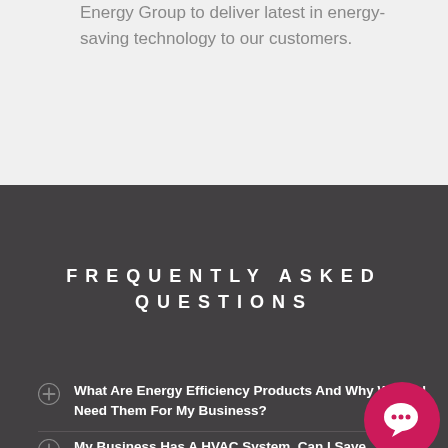Energy Group to deliver latest in energy-saving technology to our customers.
FREQUENTLY ASKED QUESTIONS
What Are Energy Efficiency Products And Why Would I Need Them For My Business?
My Business Has A HVAC System, Can I Save